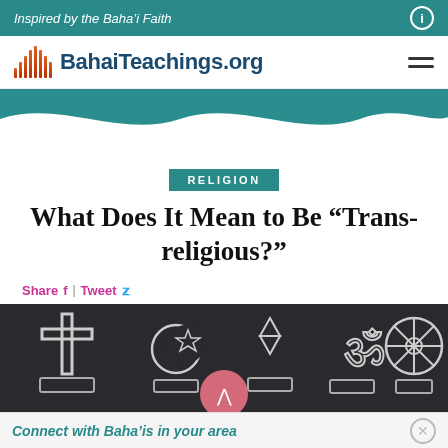Inspired by the Baha'i Faith
[Figure (logo): BahaiTeachings.org logo with red wave bars and dark blue text]
[Figure (illustration): Teal decorative wave banner background]
RELIGION
What Does It Mean to Be “Trans-religious?”
Share | Tweet
[Figure (photo): Dark chalkboard with white chalk drawings of religious symbols: Christian cross, Islamic crescent and star, Star of David, Om symbol, Buddhist wheel of dharma]
Connect with Baha’is in your area